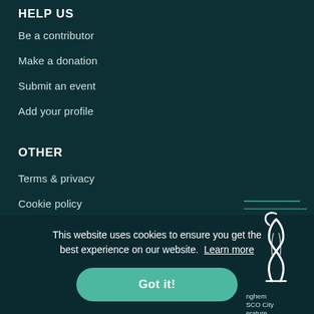HELP US
Be a contributor
Make a donation
Submit an event
Add your profile
OTHER
Terms & privacy
Cookie policy
This website uses cookies to ensure you get the best experience on our website. Learn more
Got it!
[Figure (logo): Organization logo with stylized book/figure icon and text 'nghem SCO City erature']